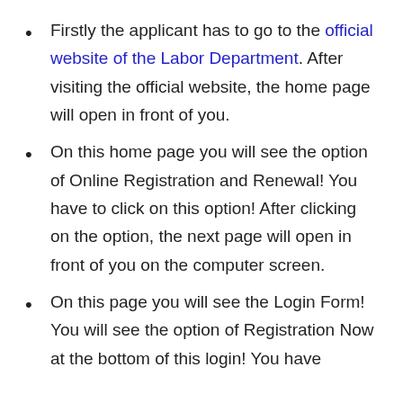Firstly the applicant has to go to the official website of the Labor Department. After visiting the official website, the home page will open in front of you.
On this home page you will see the option of Online Registration and Renewal! You have to click on this option! After clicking on the option, the next page will open in front of you on the computer screen.
On this page you will see the Login Form! You will see the option of Registration Now at the bottom of this login! You have